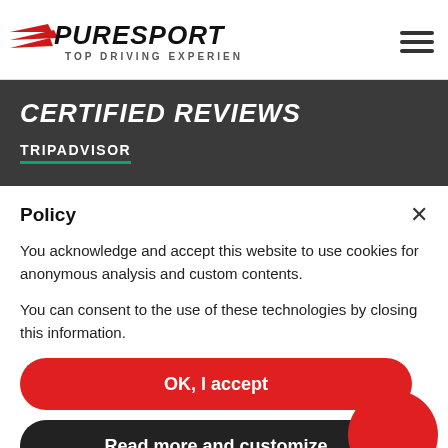[Figure (logo): PureSport Top Driving Experience logo with red angular speed lines and bold italic text, plus hamburger menu icon]
CERTIFIED REVIEWS
TRIPADVISOR
Policy
You acknowledge and accept this website to use cookies for anonymous analysis and custom contents.

You can consent to the use of these technologies by closing this information.
OK, I accept
Read more and customize